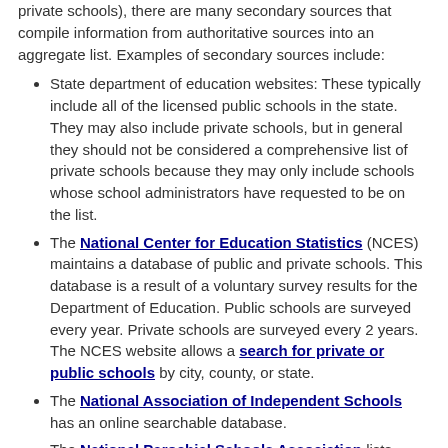private schools), there are many secondary sources that compile information from authoritative sources into an aggregate list. Examples of secondary sources include:
State department of education websites: These typically include all of the licensed public schools in the state. They may also include private schools, but in general they should not be considered a comprehensive list of private schools because they may only include schools whose school administrators have requested to be on the list.
The National Center for Education Statistics (NCES) maintains a database of public and private schools. This database is a result of a voluntary survey results for the Department of Education. Public schools are surveyed every year. Private schools are surveyed every 2 years. The NCES website allows a search for private or public schools by city, county, or state.
The National Association of Independent Schools has an online searchable database.
The National Parochial Schools Association lists parochial schools by state.